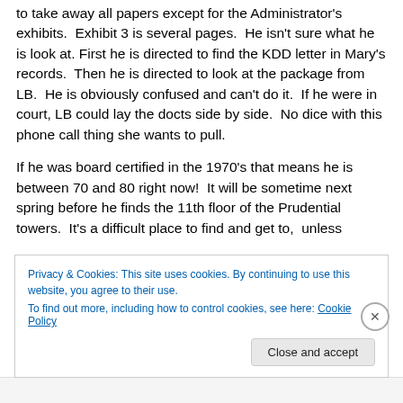to take away all papers except for the Administrator's exhibits. Exhibit 3 is several pages. He isn't sure what he is look at. First he is directed to find the KDD letter in Mary's records. Then he is directed to look at the package from LB. He is obviously confused and can't do it. If he were in court, LB could lay the docts side by side. No dice with this phone call thing she wants to pull.
If he was board certified in the 1970's that means he is between 70 and 80 right now! It will be sometime next spring before he finds the 11th floor of the Prudential towers. It's a difficult place to find and get to, unless
Privacy & Cookies: This site uses cookies. By continuing to use this website, you agree to their use.
To find out more, including how to control cookies, see here: Cookie Policy